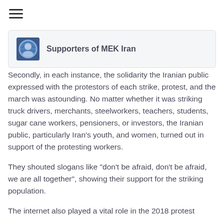[Figure (other): Hamburger menu icon (three horizontal lines)]
[Figure (other): Social media post card showing avatar icon and page name 'Supporters of MEK Iran']
Secondly, in each instance, the solidarity the Iranian public expressed with the protestors of each strike, protest, and the march was astounding. No matter whether it was striking truck drivers, merchants, steelworkers, teachers, students, sugar cane workers, pensioners, or investors, the Iranian public, particularly Iran's youth, and women, turned out in support of the protesting workers.
They shouted slogans like "don't be afraid, don't be afraid, we are all together", showing their support for the striking population.
The internet also played a vital role in the 2018 protest